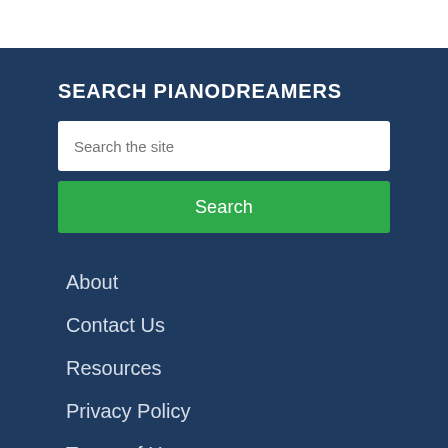SEARCH PIANODREAMERS
Search the site
Search
About
Contact Us
Resources
Privacy Policy
Terms of Use